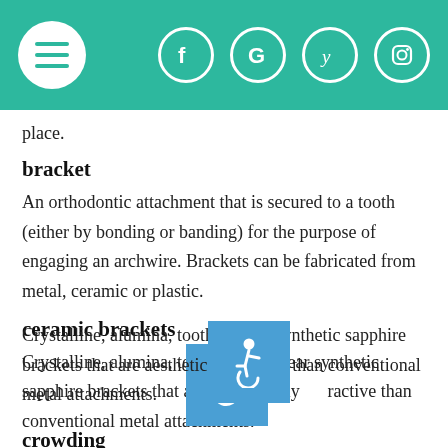[Navigation header with hamburger menu, Facebook, Google, Yelp, Instagram icons]
place.
bracket
An orthodontic attachment that is secured to a tooth (either by bonding or banding) for the purpose of engaging an archwire. Brackets can be fabricated from metal, ceramic or plastic.
ceramic brackets
Crystalline, alumina, tooth-shaded clear synthetic sapphire brackets that are aesthetically more attractive than conventional metal attachments.
crowding